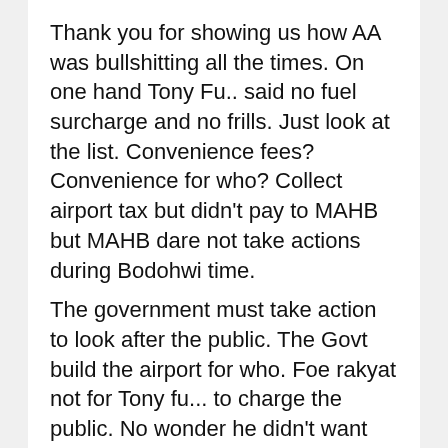Thank you for showing us how AA was bullshitting all the times. On one hand Tony Fu.. said no fuel surcharge and no frills. Just look at the list. Convenience fees? Convenience for who? Collect airport tax but didn't pay to MAHB but MAHB dare not take actions during Bodohwi time.
The government must take action to look after the public. The Govt build the airport for who. Foe rakyat not for Tony fu... to charge the public. No wonder he didn't want aerobridges. MAHB should tell Tony to FO.
Te government must stop AA from simply increase charges and charging on